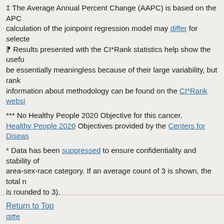‡ The Average Annual Percent Change (AAPC) is based on the APCs calculation of the joinpoint regression model may differ for selected ⁋ Results presented with the CI*Rank statistics help show the usefu be essentially meaningless because of their large variability, but rank information about methodology can be found on the CI*Rank websi
*** No Healthy People 2020 Objective for this cancer. Healthy People 2020 Objectives provided by the Centers for Diseas
* Data has been suppressed to ensure confidentiality and stability of area-sex-race category. If an average count of 3 is shown, the total n is rounded to 3).
Please note that the data comes from different sources. Due to diffe APCs calculated in SEER*Stat. Please refer to the source for each gr
Interpret Rankings provides insight into interpreting cancer inciden unstable. A rate is unstable when a small change in the numerator (e
Data for United States does not include Puerto Rico.
When displaying county information, the CI*Rank for the state is no the US By State level.
Return to Top